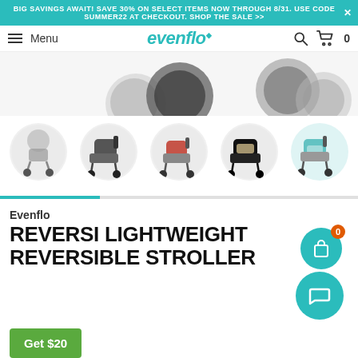BIG SAVINGS AWAIT! SAVE 30% ON SELECT ITEMS NOW THROUGH 8/31. USE CODE SUMMER22 AT CHECKOUT. SHOP THE SALE >>
Menu — Evenflo — 🔍 🛒 0
[Figure (photo): Partial view of a stroller from above showing two large black wheels]
[Figure (photo): Row of 5 stroller thumbnail images in circular frames showing different color variants: gray, dark gray, coral/red seat, black with tan, and teal/blue]
Evenflo
REVERSI LIGHTWEIGHT REVERSIBLE STROLLER